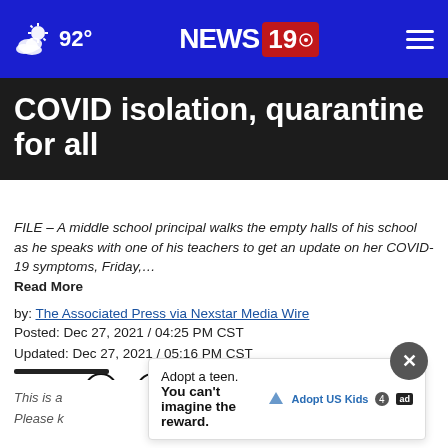92° NEWS 19
COVID isolation, quarantine for all
FILE – A middle school principal walks the empty halls of his school as he speaks with one of his teachers to get an update on her COVID-19 symptoms, Friday,… Read More
by: The Associated Press via Nexstar Media Wire
Posted: Dec 27, 2021 / 04:25 PM CST
Updated: Dec 27, 2021 / 05:16 PM CST
SHARE
This is a... outdated. Please k... dated.